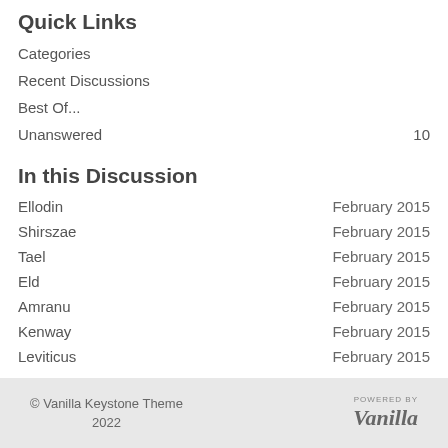Quick Links
Categories
Recent Discussions
Best Of...
Unanswered 10
In this Discussion
Ellodin - February 2015
Shirszae - February 2015
Tael - February 2015
Eld - February 2015
Amranu - February 2015
Kenway - February 2015
Leviticus - February 2015
© Vanilla Keystone Theme 2022 POWERED BY Vanilla